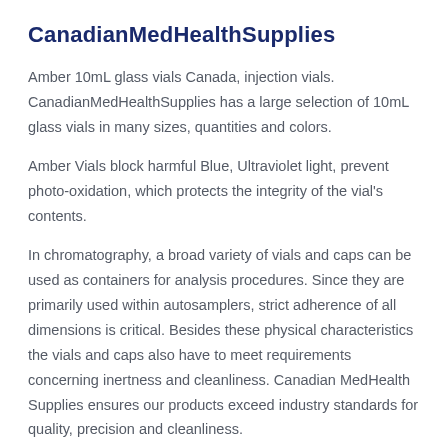CanadianMedHealthSupplies
Amber 10mL glass vials Canada, injection vials. CanadianMedHealthSupplies has a large selection of 10mL glass vials in many sizes, quantities and colors.
Amber Vials block harmful Blue, Ultraviolet light, prevent photo-oxidation, which protects the integrity of the vial's contents.
In chromatography, a broad variety of vials and caps can be used as containers for analysis procedures. Since they are primarily used within autosamplers, strict adherence of all dimensions is critical. Besides these physical characteristics the vials and caps also have to meet requirements concerning inertness and cleanliness. Canadian MedHealth Supplies ensures our products exceed industry standards for quality, precision and cleanliness.